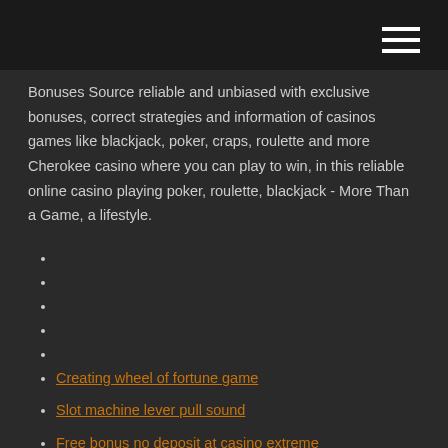Bonuses Source reliable and unbiased with exclusive bonuses, correct strategies and information of casinos games like blackjack, poker, craps, roulette and more Cherokee casino where you can play to win, in this reliable online casino playing poker, roulette, blackjack - More Than a Game, a lifestyle.
Creating wheel of fortune game
Slot machine lever pull sound
Free bonus no deposit at casino extreme